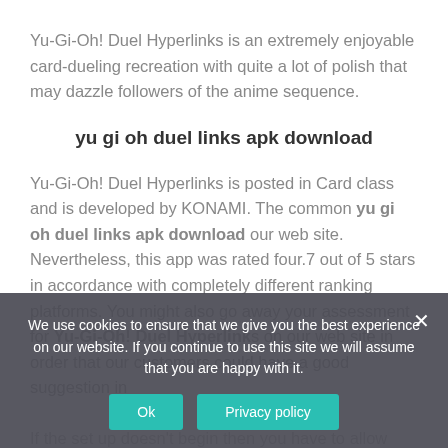Yu-Gi-Oh! Duel Hyperlinks is an extremely enjoyable card-dueling recreation with quite a lot of polish that may dazzle followers of the anime sequence.
yu gi oh duel links apk download
Yu-Gi-Oh! Duel Hyperlinks is posted in Card class and is developed by KONAMI. The common yu gi oh duel links apk download our web site. Nevertheless, this app was rated four.7 out of 5 stars in accordance with completely different ranking platforms. You might also go away your assessment for Yu-Gi-Oh! Duel Hyperlinks on our web site in order that our customers could have a good suggestion in
If the set up doesn't begin then you have to allow unknown sources out of your settings to permit me apps YU gi oh duel links apk download Hearthstone Hemerald Warman's
We use cookies to ensure that we give you the best experience on our website. If you continue to use this site we will assume that you are happy with it.